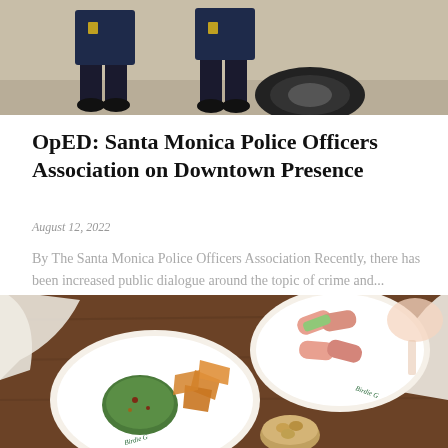[Figure (photo): Two police officers in dark uniforms sitting near a vehicle, photographed from waist down, sunny outdoor setting]
OpED: Santa Monica Police Officers Association on Downtown Presence
August 12, 2022
By The Santa Monica Police Officers Association Recently, there has been increased public dialogue around the topic of crime and...
[Figure (photo): Overhead view of restaurant table with plates of food including wrapped appetizers, chips with guacamole on Birdie G branded plates, a glass of rosé wine, and a bowl of nuts]